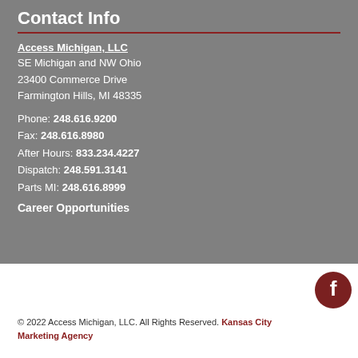Contact Info
Access Michigan, LLC
SE Michigan and NW Ohio
23400 Commerce Drive
Farmington Hills, MI 48335
Phone: 248.616.9200
Fax: 248.616.8980
After Hours: 833.234.4227
Dispatch: 248.591.3141
Parts MI: 248.616.8999
Career Opportunities
[Figure (logo): Facebook circular icon button in dark red/brown color]
© 2022 Access Michigan, LLC. All Rights Reserved. Kansas City Marketing Agency